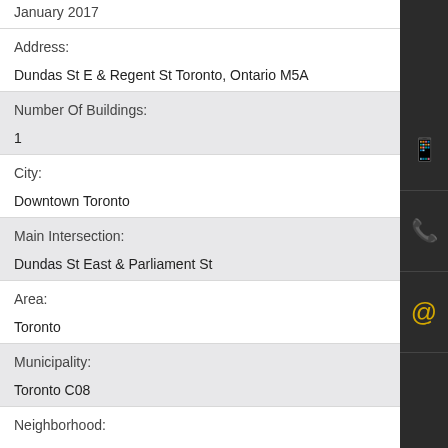January 2017
Address:
Dundas St E & Regent St Toronto, Ontario M5A
Number Of Buildings:
1
City:
Downtown Toronto
Main Intersection:
Dundas St East & Parliament St
Area:
Toronto
Municipality:
Toronto C08
Neighborhood: